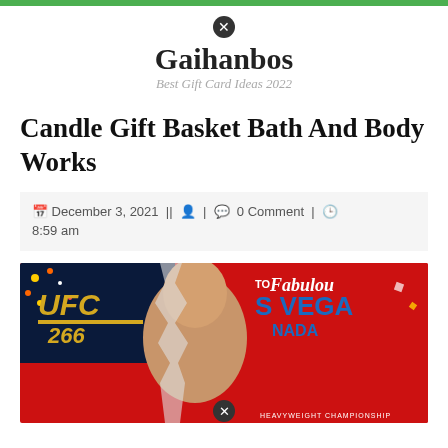Gaihanbos — Best Gift Card Ideas 2022
Candle Gift Basket Bath And Body Works
December 3, 2021 || [user icon] | [comment icon] 0 Comment | [clock icon] 8:59 am
[Figure (photo): UFC 266 promotional image showing two MMA fighters with 'TO Fabulous Las Vegas Nevada' text and UFC 266 logo on a red background with confetti]